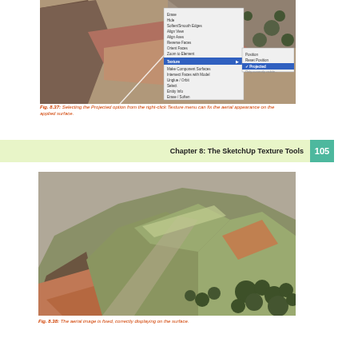[Figure (screenshot): A 3D terrain model in SketchUp with a right-click Texture context menu open, showing options including 'Projected' highlighted in blue, with sub-menu items 'Position', 'Reset Position' and other Texture options visible.]
Fig. 8.37: Selecting the Projected option from the right-click Texture menu can fix the aerial appearance on the applied surface.
Chapter 8: The SketchUp Texture Tools   105
[Figure (screenshot): A 3D terrain model correctly displaying an aerial image texture on the surface, showing rocky hillside terrain with green shrubs in the lower right, viewed from an angled perspective.]
Fig. 8.38: The aerial image is fixed, correctly displaying on the surface.
Projected Surface Painting